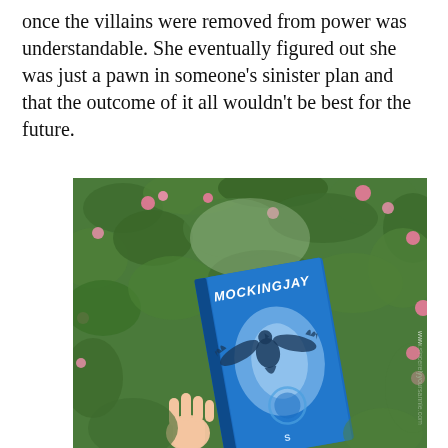once the villains were removed from power was understandable. She eventually figured out she was just a pawn in someone's sinister plan and that the outcome of it all wouldn't be best for the future.
[Figure (photo): A hand holding the book 'Mockingjay' with a blue cover showing a mockingjay bird, photographed against a background of green leaves and pink flowers. Watermark reads 'www.sincerelyyoursannie.com'.]